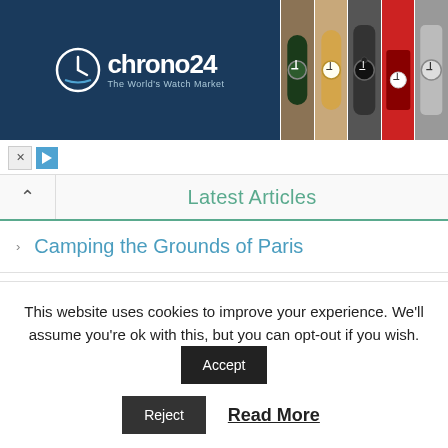[Figure (photo): Chrono24 advertisement banner with logo on dark blue background and 5 watch photos]
Latest Articles
Camping the Grounds of Paris
Tourists are Invited to Visit Paris
10 Unique Things To Do In Germany
Terrifying First Cliff Walk in Switzerland
This website uses cookies to improve your experience. We'll assume you're ok with this, but you can opt-out if you wish.